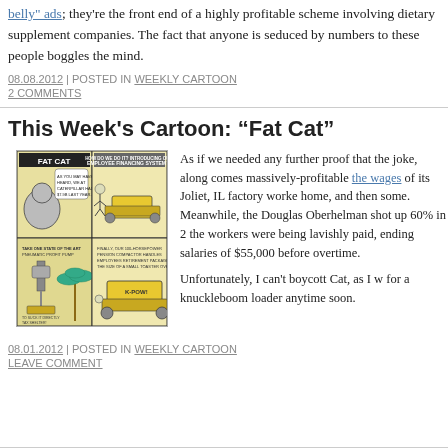belly" ads; they're the front end of a highly profitable scheme involving dietary supplement companies. The fact that anyone is seduced by numbers to these people boggles the mind.
08.08.2012 | POSTED IN WEEKLY CARTOON
2 COMMENTS
This Week's Cartoon: “Fat Cat”
[Figure (illustration): A 4-panel comic strip titled FAT CAT featuring a large cat executive and Caterpillar heavy machinery]
As if we needed any further proof that the joke, along comes massively-profitable the wages of its Joliet, IL factory workers home, and then some. Meanwhile, the Douglas Oberhelman shot up 60% in 2 the workers were being lavishly paid, ending salaries of $55,000 before overtime.

Unfortunately, I can't boycott Cat, as I w for a knuckleboom loader anytime soon.
08.01.2012 | POSTED IN WEEKLY CARTOON
LEAVE COMMENT